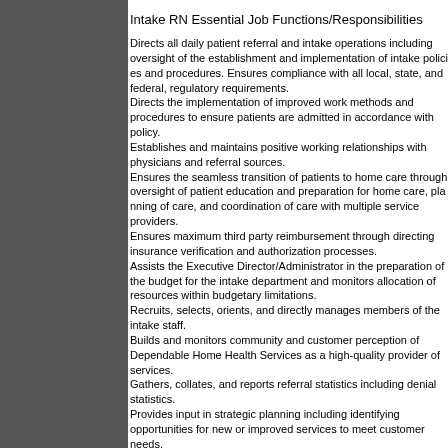Intake RN Essential Job Functions/Responsibilities
Directs all daily patient referral and intake operations including oversight of the establishment and implementation of intake policies and procedures. Ensures compliance with all local, state, and federal, regulatory requirements. Directs the implementation of improved work methods and procedures to ensure patients are admitted in accordance with policy. Establishes and maintains positive working relationships with physicians and referral sources. Ensures the seamless transition of patients to home care through oversight of patient education and preparation for home care, planning of care, and coordination of care with multiple service providers. Ensures maximum third party reimbursement through directing insurance verification and authorization processes. Assists the Executive Director/Administrator in the preparation of the budget for the intake department and monitors allocation of resources within budgetary limitations. Recruits, selects, orients, and directly manages members of the intake staff. Builds and monitors community and customer perception of Dependable Home Health Services as a high-quality provider of services. Gathers, collates, and reports referral statistics including denial statistics. Provides input in strategic planning including identifying opportunities for new or improved services to meet customer needs. Maintains comprehensive working knowledge of Dependable Home Health Services contractual relationships and ensures that patients are aware of contractual provisions. Maintain a collaborative relationship with the Dependable Home Health Services. The above statements are intended to be a representation